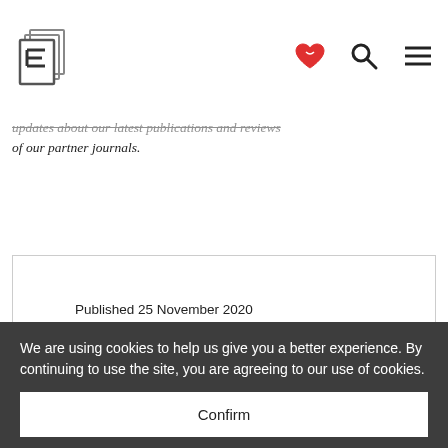Eurozine logo with navigation icons
updates about our latest publications and reviews of our partner journals.
Published 25 November 2020
Original in English
First published by Eurozine

© Eurozine
We are using cookies to help us give you a better experience. By continuing to use the site, you are agreeing to our use of cookies.
Confirm
#JOURNALISM #EDITORIAL